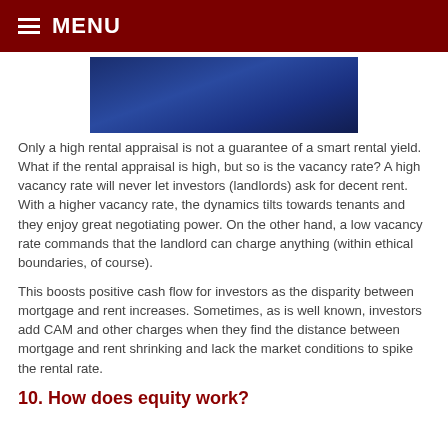MENU
[Figure (illustration): Dark blue rectangular banner/image area]
Only a high rental appraisal is not a guarantee of a smart rental yield. What if the rental appraisal is high, but so is the vacancy rate? A high vacancy rate will never let investors (landlords) ask for decent rent. With a higher vacancy rate, the dynamics tilts towards tenants and they enjoy great negotiating power. On the other hand, a low vacancy rate commands that the landlord can charge anything (within ethical boundaries, of course).
This boosts positive cash flow for investors as the disparity between mortgage and rent increases. Sometimes, as is well known, investors add CAM and other charges when they find the distance between mortgage and rent shrinking and lack the market conditions to spike the rental rate.
10. How does equity work?